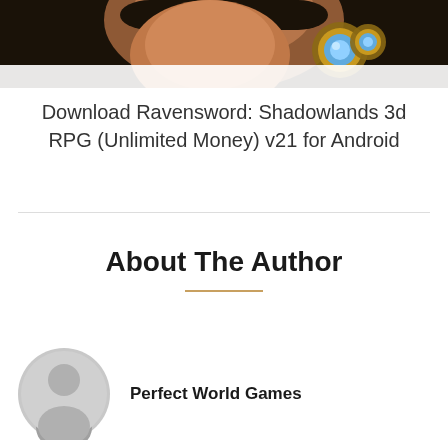[Figure (photo): Cropped game character image from Ravensword: Shadowlands 3d RPG, showing a face with helmet/goggles at top of page]
Download Ravensword: Shadowlands 3d RPG (Unlimited Money) v21 for Android
About The Author
[Figure (illustration): Generic user avatar icon — grey circle with person silhouette]
Perfect World Games